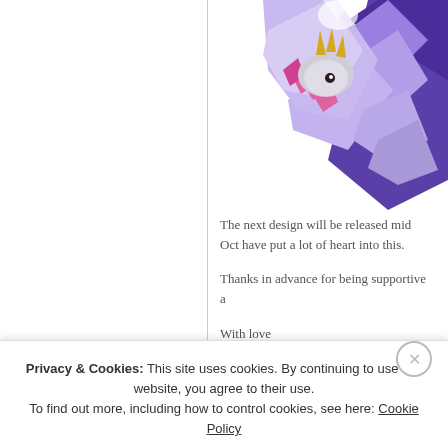[Figure (illustration): Partially visible purple fantasy creature/dragon illustration with pink accents, gold horns, and geometric crystal-like wings against white background]
The next design will be released mid Oct have put a lot of heart into this.
Thanks in advance for being supportive a
With love
Privacy & Cookies: This site uses cookies. By continuing to use this website, you agree to their use.
To find out more, including how to control cookies, see here: Cookie Policy
Close and accept